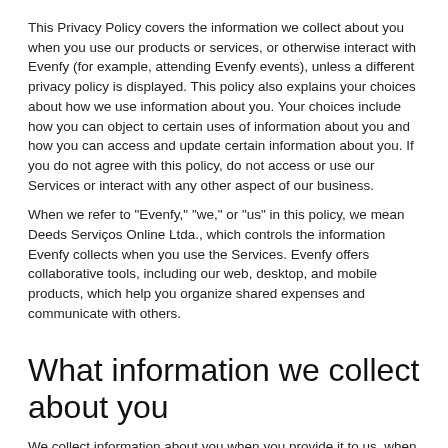This Privacy Policy covers the information we collect about you when you use our products or services, or otherwise interact with Evenfy (for example, attending Evenfy events), unless a different privacy policy is displayed. This policy also explains your choices about how we use information about you. Your choices include how you can object to certain uses of information about you and how you can access and update certain information about you. If you do not agree with this policy, do not access or use our Services or interact with any other aspect of our business.
When we refer to "Evenfy," "we," or "us" in this policy, we mean Deeds Serviços Online Ltda., which controls the information Evenfy collects when you use the Services. Evenfy offers collaborative tools, including our web, desktop, and mobile products, which help you organize shared expenses and communicate with others.
What information we collect about you
We collect information about you when you provide it to us, when you use our Services, and when other sources provide it to us, as further described below.
Information you provide to us
We collect information that you submit to the Services...